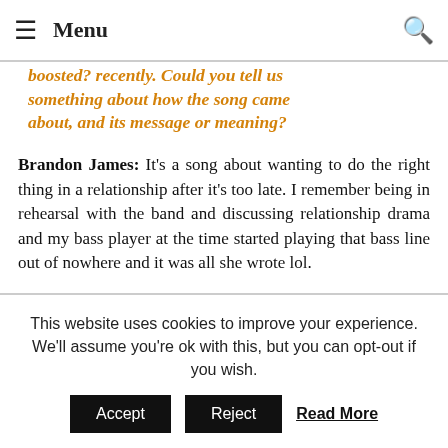Menu
about, and its message or meaning?
Brandon James:  It's a song about wanting to do the right thing in a relationship after it's too late. I remember being in rehearsal with the band and discussing relationship drama and my bass player at the time started playing that bass line out of nowhere and it was all she wrote lol.
5. What do you feel are the key elements people will enjoy about this track, and your music in general?
This website uses cookies to improve your experience. We'll assume you're ok with this, but you can opt-out if you wish.  Accept  Reject  Read More